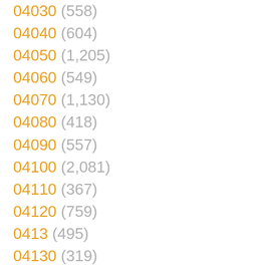04030 (558)
04040 (604)
04050 (1,205)
04060 (549)
04070 (1,130)
04080 (418)
04090 (557)
04100 (2,081)
04110 (367)
04120 (759)
0413 (495)
04130 (319)
0414 (495)
04140 (602)
04150 (1,716)
04160 (681)